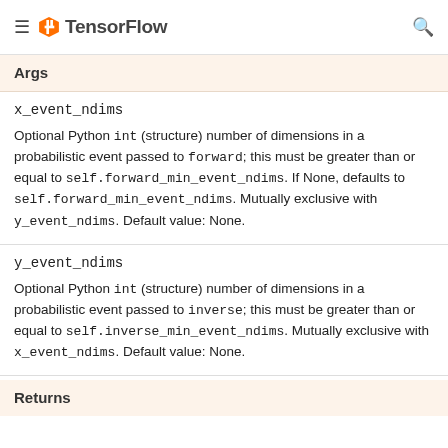TensorFlow
Args
x_event_ndims
Optional Python int (structure) number of dimensions in a probabilistic event passed to forward; this must be greater than or equal to self.forward_min_event_ndims. If None, defaults to self.forward_min_event_ndims. Mutually exclusive with y_event_ndims. Default value: None.
y_event_ndims
Optional Python int (structure) number of dimensions in a probabilistic event passed to inverse; this must be greater than or equal to self.inverse_min_event_ndims. Mutually exclusive with x_event_ndims. Default value: None.
Returns